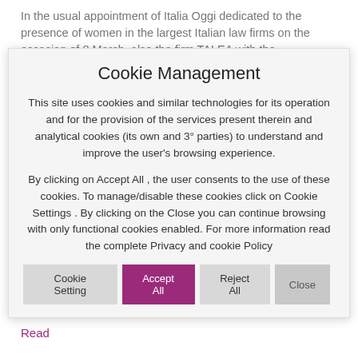In the usual appointment of Italia Oggi dedicated to the presence of women in the largest Italian law firms on the occasion of 8 March, also the firm TALEA with the
Cookie Management
This site uses cookies and similar technologies for its operation and for the provision of the services present therein and analytical cookies (its own and 3° parties) to understand and improve the user's browsing experience.
By clicking on Accept All , the user consents to the use of these cookies. To manage/disable these cookies click on Cookie Settings . By clicking on the Close you can continue browsing with only functional cookies enabled. For more information read the complete Privacy and cookie Policy
some of the most important labour law firms in Italy, there is also Cristina ...
Read